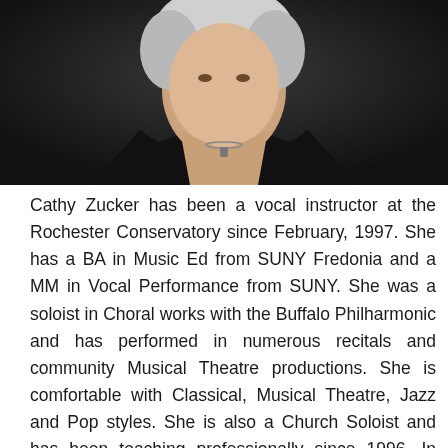[Figure (photo): Portrait photo of Cathy Zucker, a woman with light curly hair wearing a black top with a necklace, photographed against a dark background.]
Cathy Zucker has been a vocal instructor at the Rochester Conservatory since February, 1997. She has a BA in Music Ed from SUNY Fredonia and a MM in Vocal Performance from SUNY. She was a soloist in Choral works with the Buffalo Philharmonic and has performed in numerous recitals and community Musical Theatre productions. She is comfortable with Classical, Musical Theatre, Jazz and Pop styles. She is also a Church Soloist and has been teaching professionally since 1996. In addition to her duties as a private vocal instructor at the Rochester Conservatory, Ms. Zucker is also the placement director for all incoming